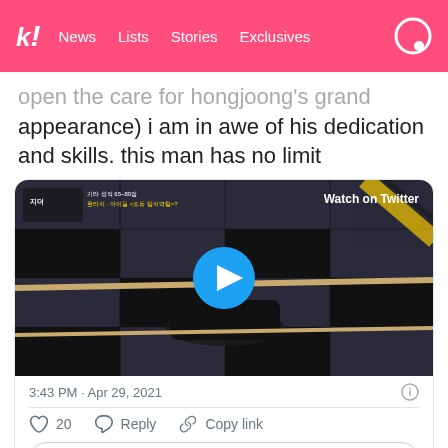k! News Lists Stories Exclusives
appearance) i am in awe of his dedication and skills. this man has no limit
[Figure (screenshot): Embedded Twitter video thumbnail showing a person lying on the floor holding a rope in a TV show set, with a blue play button overlay and 'Watch on Twitter' label]
3:43 PM · Apr 29, 2021
20  Reply  Copy link
Explore what's happening on Twitter